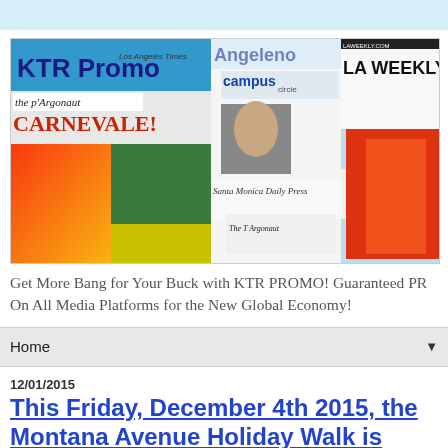[Figure (screenshot): KTR Promo banner showing collage of newspaper and magazine clippings including The Argonaut CARNEVALE!, Los Angeles Times, Angeleno, campus circle, LA Weekly, Santa Monica Daily Press, Mirror, and other publications with colorful images.]
Get More Bang for Your Buck with KTR PROMO! Guaranteed PR On All Media Platforms for the New Global Economy!
Home ▼
12/01/2015
This Friday, December 4th 2015, the Montana Avenue Holiday Walk is Back !!!